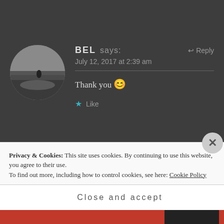[Figure (photo): Circular avatar photo (black and white landscape) for user BEL]
BEL says:
July 12, 2017 at 2:39 am
Reply
Thank you 😊
★ Like
[Figure (photo): Circular avatar photo (person sitting in green field) for user FEELINGSUICIDALBLOG]
FEELINGSUICIDALBLOG says: Reply
June 25, 2017 at 1:32 am
Privacy & Cookies: This site uses cookies. By continuing to use this website, you agree to their use.
To find out more, including how to control cookies, see here: Cookie Policy
Close and accept